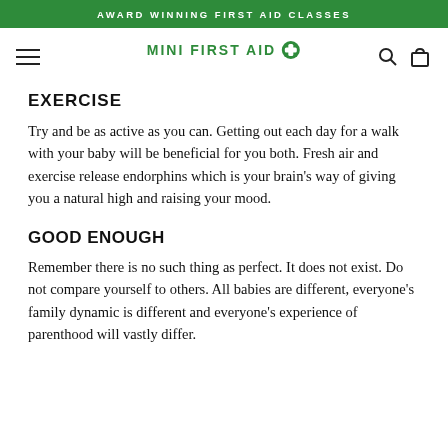AWARD WINNING FIRST AID CLASSES
[Figure (logo): Mini First Aid logo with green cross icon and navigation icons (hamburger menu, search, bag)]
EXERCISE
Try and be as active as you can. Getting out each day for a walk with your baby will be beneficial for you both. Fresh air and exercise release endorphins which is your brain's way of giving you a natural high and raising your mood.
GOOD ENOUGH
Remember there is no such thing as perfect. It does not exist. Do not compare yourself to others. All babies are different, everyone's family dynamic is different and everyone's experience of parenthood will vastly differ.